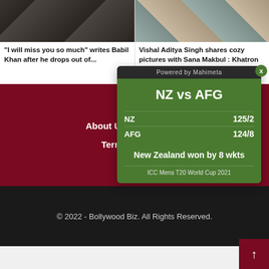[Figure (photo): Photo of Babil Khan on a film set]
“I will miss you so much” writes Babil Khan after he drops out of…
[Figure (photo): Photo of Vishal Aditya Singh and Sana Makbul]
Vishal Aditya Singh shares cozy pictures with Sana Makbul : Khatron Ke…
[Figure (infographic): Cricket score widget: NZ vs AFG, NZ 125/2, AFG 124/8, New Zealand won by 8 wkts, ICC Mens T20 World Cup 2021]
About Us
Contact
Terms & Condit…
© 2022 - Bollywood Biz. All Rights Reserved.